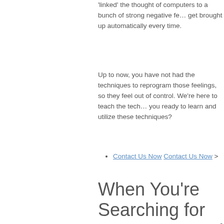'linked' the thought of computers to a bunch of strong negative feelings, so they get brought up automatically every time.
Up to now, you have not had the techniques to reprogram those feelings, so they feel out of control. We're here to teach the techniques. Are you ready to learn and utilize these techniques?
Contact Us Now Contact Us Now >
When You're Searching for Treatments and Cures to Vanquish Your Working on a Computer Fear
Here's the thing, our system does not treat or cure your fear. As much as we'd love to wave a magic wand and 'cure' you, it's actually up to you to change the way you feel. Quite simply, we are here to hold your hand through this mega process of empowerment.
This process has proven procedures for overcoming rage, fear, a